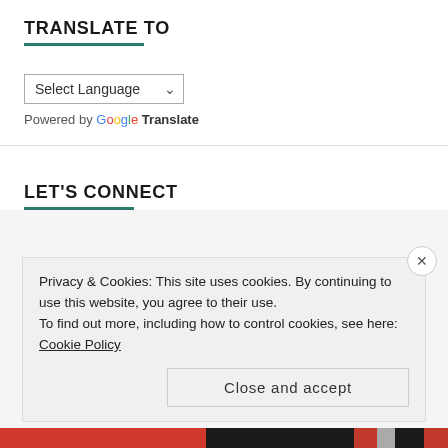TRANSLATE TO
[Figure (screenshot): Language selection dropdown widget with 'Select Language' placeholder and dropdown arrow, followed by 'Powered by Google Translate' text]
LET'S CONNECT
Privacy & Cookies: This site uses cookies. By continuing to use this website, you agree to their use.
To find out more, including how to control cookies, see here: Cookie Policy
Close and accept